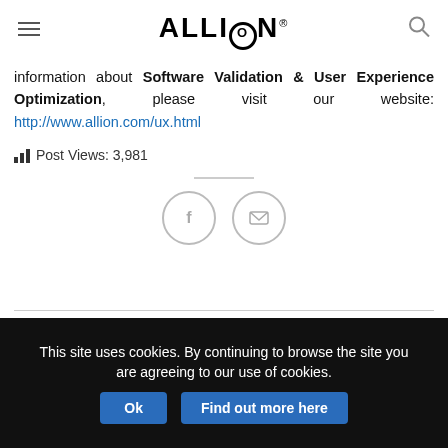ALLION® (logo with menu and search icons)
information about Software Validation & User Experience Optimization, please visit our website: http://www.allion.com/ux.html
Post Views: 3,981
[Figure (illustration): Social share icons: Facebook circle and email/envelope circle]
This entry was posted in Technical Blogs and tagged Consumer, Portable, SmartWatch.
This site uses cookies. By continuing to browse the site you are agreeing to our use of cookies. Ok  Find out more here